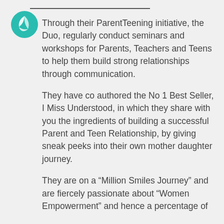[Figure (logo): Teal circular logo with white leaf/swoosh design]
Through their ParentTeening initiative, the Duo, regularly conduct seminars and workshops for Parents, Teachers and Teens to help them build strong relationships through communication.
They have co authored the No 1 Best Seller, I Miss Understood, in which they share with you the ingredients of building a successful Parent and Teen Relationship, by giving sneak peeks into their own mother daughter journey.
They are on a “Million Smiles Journey” and are fiercely passionate about “Women Empowerment” and hence a percentage of